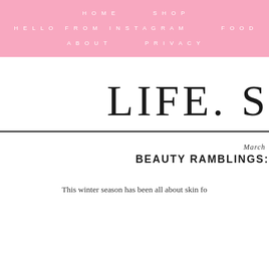HOME   SHOP   HELLO FROM INSTAGRAM   FOOD   ABOUT   PRIVACY
LIFE. S
March
BEAUTY RAMBLINGS:
This winter season has been all about skin fo